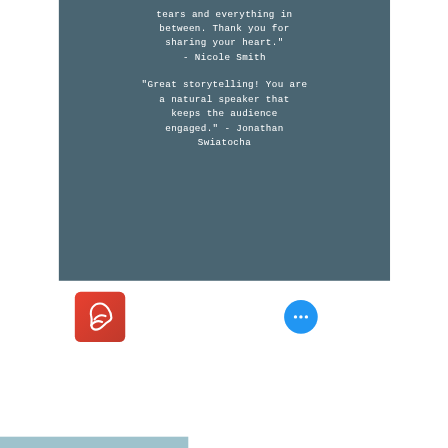tears and everything in between. Thank you for sharing your heart." - Nicole Smith
"Great storytelling! You are a natural speaker that keeps the audience engaged." - Jonathan Swiatocha
[Figure (logo): Adobe Acrobat PDF icon - red rounded square with white Acrobat symbol]
[Figure (other): Blue circular button with three white dots (ellipsis / more options button)]